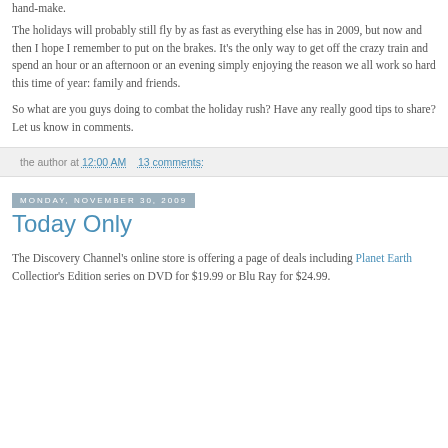hand-make.
The holidays will probably still fly by as fast as everything else has in 2009, but now and then I hope I remember to put on the brakes. It's the only way to get off the crazy train and spend an hour or an afternoon or an evening simply enjoying the reason we all work so hard this time of year: family and friends.
So what are you guys doing to combat the holiday rush? Have any really good tips to share? Let us know in comments.
the author at 12:00 AM   13 comments:
Monday, November 30, 2009
Today Only
The Discovery Channel's online store is offering a page of deals including Planet Earth Collectior's Edition series on DVD for $19.99 or Blu Ray for $24.99.